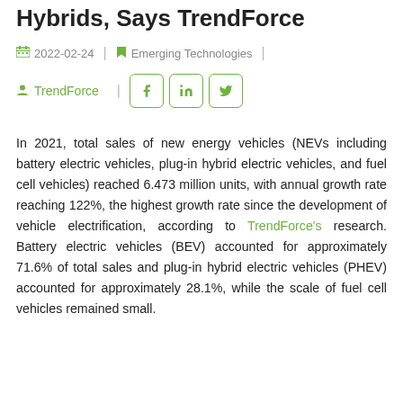Hybrids, Says TrendForce
2022-02-24 | Emerging Technologies
TrendForce
In 2021, total sales of new energy vehicles (NEVs including battery electric vehicles, plug-in hybrid electric vehicles, and fuel cell vehicles) reached 6.473 million units, with annual growth rate reaching 122%, the highest growth rate since the development of vehicle electrification, according to TrendForce's research. Battery electric vehicles (BEV) accounted for approximately 71.6% of total sales and plug-in hybrid electric vehicles (PHEV) accounted for approximately 28.1%, while the scale of fuel cell vehicles remained small.